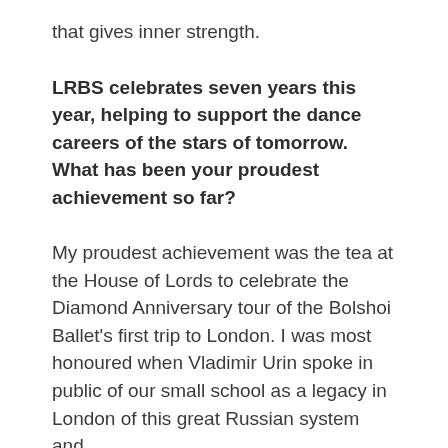that gives inner strength.
LRBS celebrates seven years this year, helping to support the dance careers of the stars of tomorrow. What has been your proudest achievement so far?
My proudest achievement was the tea at the House of Lords to celebrate the Diamond Anniversary tour of the Bolshoi Ballet's first trip to London. I was most honoured when Vladimir Urin spoke in public of our small school as a legacy in London of this great Russian system and